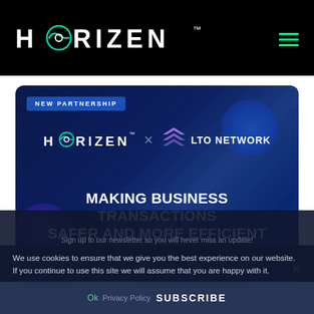HORIZEN
[Figure (screenshot): Partnership announcement card: HORIZEN x LTO NETWORK — MAKING BUSINESS TRANSACTIONS SAFER AND MORE EFFICIENT]
NEW PARTNERSHIP
MAKING BUSINESS TRANSACTIONS SAFER AND MORE EFFICIENT
We use cookies to ensure that we give you the best experience on our website. If you continue to use this site we will assume that you are happy with it.
Your email address..
Ok   Privacy Policy   SUBSCRIBE